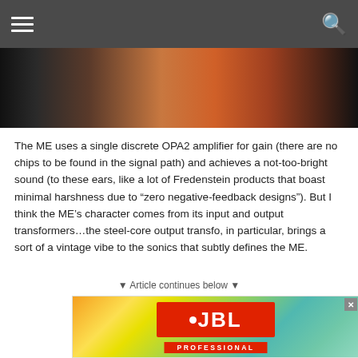[Figure (photo): Partial photo strip showing a person, cropped at top]
The ME uses a single discrete OPA2 amplifier for gain (there are no chips to be found in the signal path) and achieves a not-too-bright sound (to these ears, like a lot of Fredenstein products that boast minimal harshness due to “zero negative-feedback designs”). But I think the ME’s character comes from its input and output transformers…the steel-core output transfo, in particular, brings a sort of a vintage vibe to the sonics that subtly defines the ME.
▾ Article continues below ▾
[Figure (photo): JBL Professional advertisement banner with orange/green gradient background and JBL logo in red box]